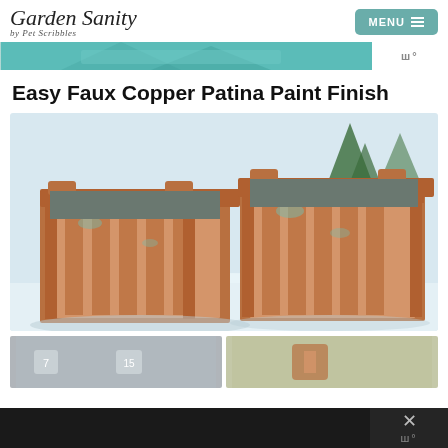Garden Sanity by Pet Scribbles | MENU
Easy Faux Copper Patina Paint Finish
[Figure (photo): Two wooden planter boxes painted with faux copper patina finish, sitting outdoors in snow with evergreen trees in background]
[Figure (photo): Bottom strip showing two partial thumbnail images of related content]